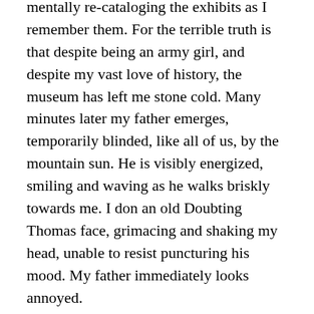mentally re-cataloging the exhibits as I remember them. For the terrible truth is that despite being an army girl, and despite my vast love of history, the museum has left me stone cold. Many minutes later my father emerges, temporarily blinded, like all of us, by the mountain sun. He is visibly energized, smiling and waving as he walks briskly towards me. I don an old Doubting Thomas face, grimacing and shaking my head, unable to resist puncturing his mood. My father immediately looks annoyed.
He will never know this, but I always take his side. I am asking him, impossibly, at the ripe age of seventy, to fight the Indian army's ridiculous old traditions and its enduring caste systems, most strikingly revealed in the way its regiments and battalions are named and